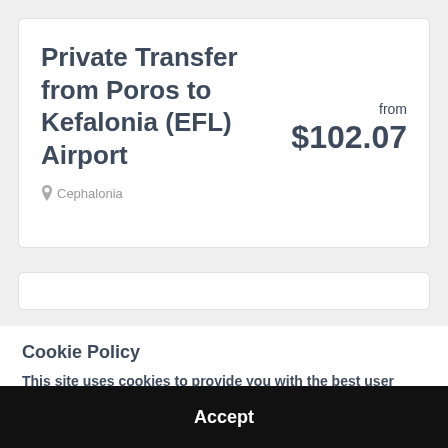Private Transfer from Poros to Kefalonia (EFL) Airport
from $102.07
Cephalonia
Cookie Policy
This site uses cookies to provide you with the best user experience. By using Tripening, you accept our Terms & Conditions and Privacy Policy.
Accept